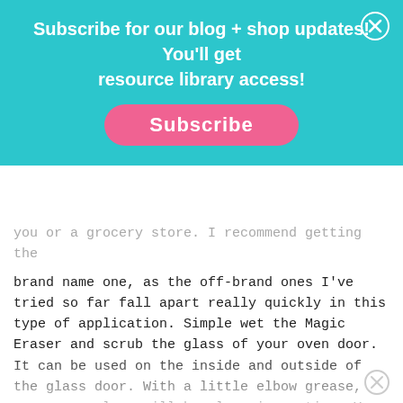Subscribe for our blog + shop updates! You'll get resource library access!
brand name one, as the off-brand ones I've tried so far fall apart really quickly in this type of application. Simple wet the Magic Eraser and scrub the glass of your oven door. It can be used on the inside and outside of the glass door. With a little elbow grease, your oven glass will be clean in no time. You can see a tutorial of this oven glass cleaning method here.
You can also use the DIY baking soda cleaner used on the inside of the oven in the steps above. Spread tha